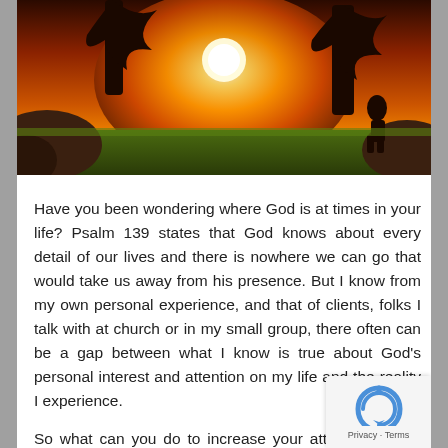[Figure (photo): Sunset landscape photo showing silhouettes of trees and rocks with a bright orange/yellow sun glowing in the background, with green grass in the foreground]
Have you been wondering where God is at times in your life? Psalm 139 states that God knows about every detail of our lives and there is nowhere we can go that would take us away from his presence. But I know from my own personal experience, and that of clients, folks I talk with at church or in my small group, there often can be a gap between what I know is true about God's personal interest and attention on my life and the reality I experience.
So what can you do to increase your attentiveness to the presence of God in your life?